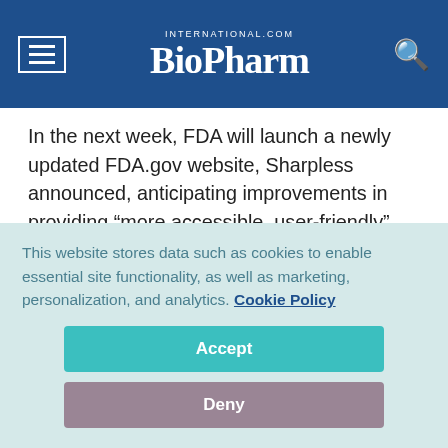BioPharm International
In the next week, FDA will launch a newly updated FDA.gov website, Sharpless announced, anticipating improvements in providing “more accessible, user-friendly” information important to consumers. Although he serves as FDA’s acting commissioner, he emphasized that he did not see his role as temporary or part-time, and that he planned to “proceed at full
This website stores data such as cookies to enable essential site functionality, as well as marketing, personalization, and analytics. Cookie Policy
Accept
Deny